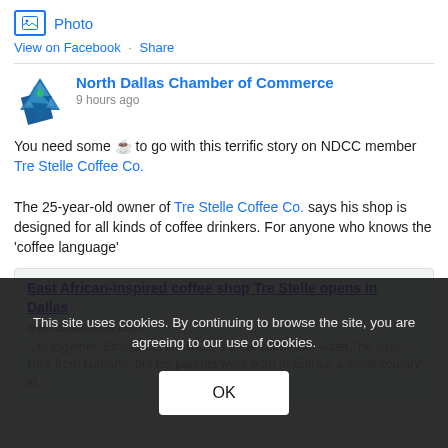Photo
View on Facebook · Share
North Dallas Chamber of Commerce
9 hours ago
You need some ☕ to go with this terrific story on NDCC member Tre Stelle Coffee Co.
The 25-year-old owner of Tre Stelle Coffee Co. says his shop is designed for all kinds of coffee drinkers. For anyone who knows the 'coffee language'
East African-inspired coffee shop Tre Stelle opens in Dallas
www.dallasnews.com
...to together. Ethiopians continue, 'I drink coffee like water,' he says. He's from Garland, but his parents were born in Eritrea, a small country in...
This site uses cookies. By continuing to browse the site, you are agreeing to our use of cookies.
OK